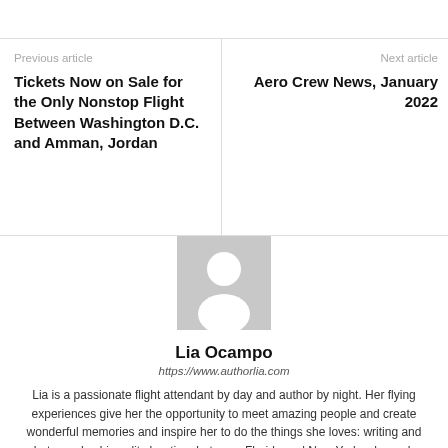Previous article
Tickets Now on Sale for the Only Nonstop Flight Between Washington D.C. and Amman, Jordan
Next article
Aero Crew News, January 2022
[Figure (illustration): Generic user avatar placeholder image — gray background with white silhouette of a person (head and shoulders)]
Lia Ocampo
https://www.authorlia.com
Lia is a passionate flight attendant by day and author by night. Her flying experiences give her the opportunity to meet amazing people and create wonderful memories and inspire her to do the things she loves: writing and photography. Lia splits her time between Florida and New York, where she